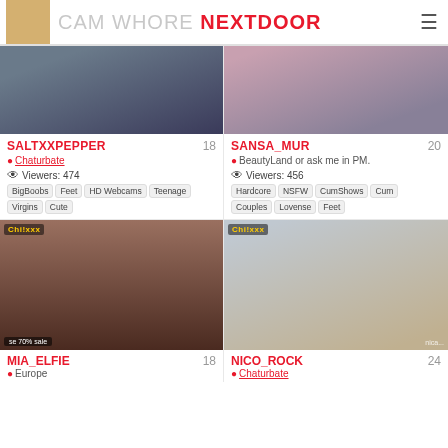CAM WHORE NEXTDOOR
SALTXXPEPPER
Chaturbate
Viewers: 474
BigBoobs | Feet | HD Webcams | Teenage | Virgins | Cute
SANSA_MUR
BeautyLand or ask me in PM.
Viewers: 456
Hardcore | NSFW | CumShows | Cum | Couples | Lovense | Feet
MIA_ELFIE
Europe
NICO_ROCK
Chaturbate